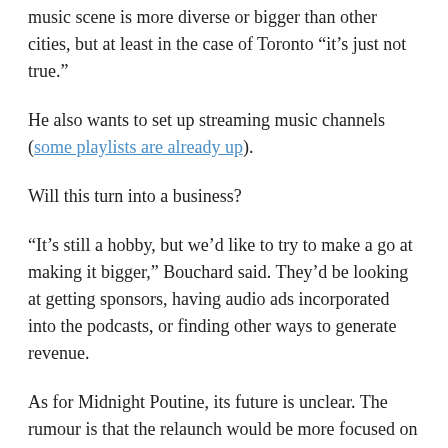music scene is more diverse or bigger than other cities, but at least in the case of Toronto “it’s just not true.”
He also wants to set up streaming music channels (some playlists are already up).
Will this turn into a business?
“It’s still a hobby, but we’d like to try to make a go at making it bigger,” Bouchard said. They’d be looking at getting sponsors, having audio ads incorporated into the podcasts, or finding other ways to generate revenue.
As for Midnight Poutine, its future is unclear. The rumour is that the relaunch would be more focused on food than music, but officially we don’t know anything. Will it be days, weeks, months? Who knows.
One thing is for sure: Without the podcast and its associated